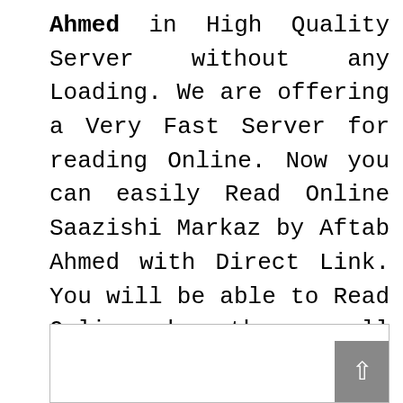Ahmed in High Quality Server without any Loading. We are offering a Very Fast Server for reading Online. Now you can easily Read Online Saazishi Markaz by Aftab Ahmed with Direct Link. You will be able to Read Online by the scroll below. We are offering Read Online Process. So you can Download as well as Read it Online. Just Scroll the cursor below and read it online without any Problem!
[Figure (other): A white bordered box with a grey scroll-to-top button in the bottom-right corner showing an upward arrow.]